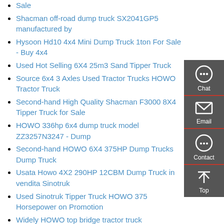Sale
Shacman off-road dump truck SX2041GP5 manufactured by
Hysoon Hd10 4x4 Mini Dump Truck 1ton For Sale - Buy 4x4
Used Hot Selling 6X4 25m3 Sand Tipper Truck
Source 6x4 3 Axles Used Tractor Trucks HOWO Tractor Truck
Second-hand High Quality Shacman F3000 8X4 Tipper Truck for Sale
HOWO 336hp 6x4 dump truck model ZZ3257N3247 - Dump
Second-hand HOWO 6X4 375HP Dump Trucks Dump Truck
Usata Howo 4X2 290HP 12CBM Dump Truck in vendita Sinotruk
Used Sinotruk Tipper Truck HOWO 375 Horsepower on Promotion
Widely HOWO top bridge tractor truck
Used Tipper Trucks - GHH-Fahrzeuge